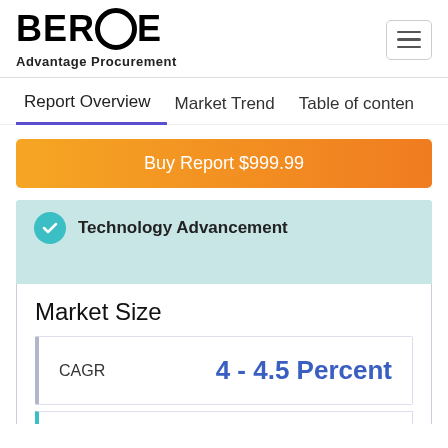BEROE Advantage Procurement
Report Overview | Market Trend | Table of contents
Buy Report $999.99
Technology Advancement
Market Size
|  |  |
| --- | --- |
| CAGR | 4 - 4.5 Percent |